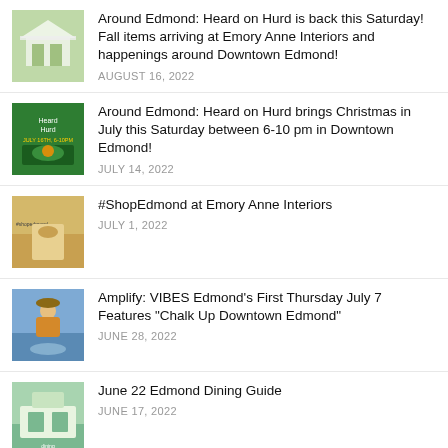Around Edmond: Heard on Hurd is back this Saturday! Fall items arriving at Emory Anne Interiors and happenings around Downtown Edmond!
Around Edmond: Heard on Hurd brings Christmas in July this Saturday between 6-10 pm in Downtown Edmond!
#ShopEdmond at Emory Anne Interiors
Amplify: VIBES Edmond’s First Thursday July 7 Features “Chalk Up Downtown Edmond”
June 22 Edmond Dining Guide
Amplify: Dana Lombardo Gallery Opening at Edmond Fine Arts Institute, Thursday, July 7th